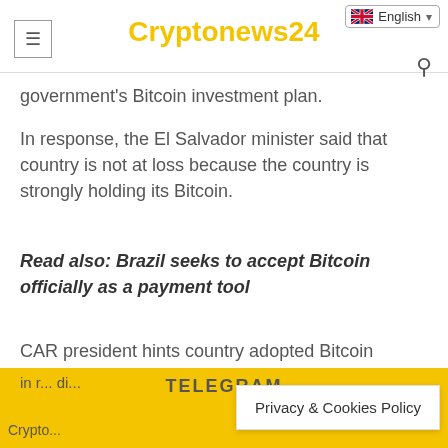Cryptonews24
government's Bitcoin investment plan.
In response, the El Salvador minister said that country is not at loss because the country is strongly holding its Bitcoin.
Read also: Brazil seeks to accept Bitcoin officially as a payment tool
CAR president hints country adopted Bitcoin during a hard time but it's ok
TELEGRAM
Crypto... Privacy & Cookies Policy